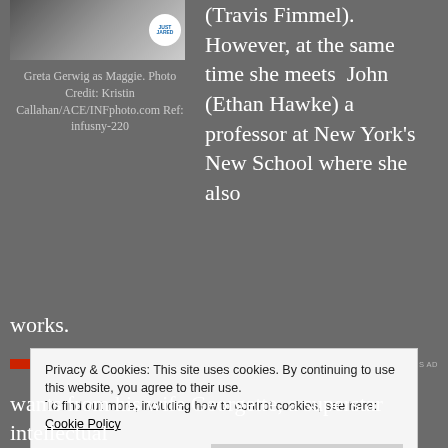[Figure (photo): Photo of Greta Gerwig as Maggie, with Just Jared watermark badge in corner]
Greta Gerwig as Maggie. Photo Credit: Kristin Callahan/ACE/INFphoto.com Ref: infusny-220
(Travis Fimmel). However, at the same time she meets  John (Ethan Hawke) a professor at New York's New School where she also works.
[Figure (other): Ad bar with red element and 'REPORT THIS AD' text]
Privacy & Cookies: This site uses cookies. By continuing to use this website, you agree to their use.
To find out more, including how to control cookies, see here: Cookie Policy
Close and accept
wants from his wife Georgette, a superstar intellectual